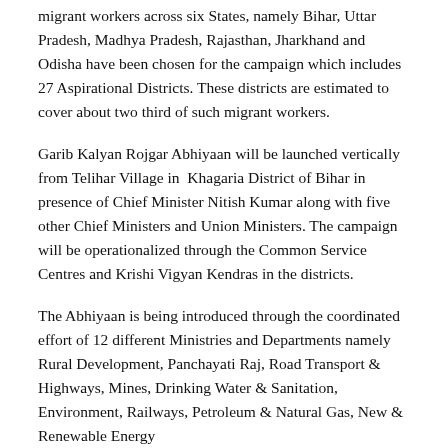migrant workers across six States, namely Bihar, Uttar Pradesh, Madhya Pradesh, Rajasthan, Jharkhand and Odisha have been chosen for the campaign which includes 27 Aspirational Districts. These districts are estimated to cover about two third of such migrant workers.
Garib Kalyan Rojgar Abhiyaan will be launched vertically from Telihar Village in Khagaria District of Bihar in presence of Chief Minister Nitish Kumar along with five other Chief Ministers and Union Ministers. The campaign will be operationalized through the Common Service Centres and Krishi Vigyan Kendras in the districts.
The Abhiyaan is being introduced through the coordinated effort of 12 different Ministries and Departments namely Rural Development, Panchayati Raj, Road Transport & Highways, Mines, Drinking Water & Sanitation, Environment, Railways, Petroleum & Natural Gas, New & Renewable Energy